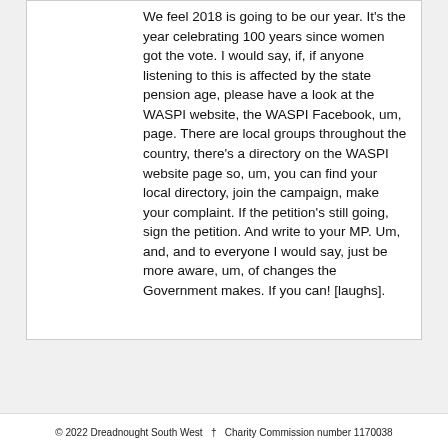We feel 2018 is going to be our year. It's the year celebrating 100 years since women got the vote. I would say, if, if anyone listening to this is affected by the state pension age, please have a look at the WASPI website, the WASPI Facebook, um, page. There are local groups throughout the country, there's a directory on the WASPI website page so, um, you can find your local directory, join the campaign, make your complaint. If the petition's still going, sign the petition. And write to your MP. Um, and, and to everyone I would say, just be more aware, um, of changes the Government makes. If you can! [laughs].
© 2022 Dreadnought South West  †  Charity Commission number 1170038